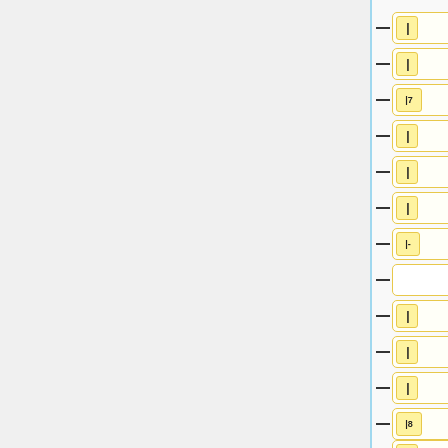[Figure (screenshot): A vertical list of form input fields, each consisting of a rounded rectangle with a yellow highlighted tab on the left side containing a cursor character. Most fields show only a cursor '|', field 3 shows '|7', field 7 shows '|-', field 8 has no yellow tab, and field 12 shows '|8'. A vertical blue line runs along the left edge of the fields. Horizontal tick marks connect to the left side of each field.]